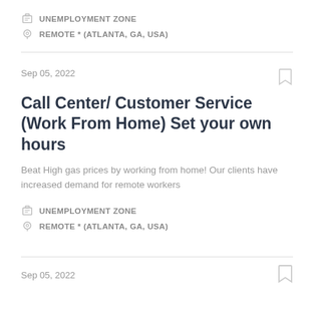UNEMPLOYMENT ZONE
REMOTE * (ATLANTA, GA, USA)
Sep 05, 2022
Call Center/ Customer Service (Work From Home) Set your own hours
Beat High gas prices by working from home! Our clients have increased demand for remote workers
UNEMPLOYMENT ZONE
REMOTE * (ATLANTA, GA, USA)
Sep 05, 2022